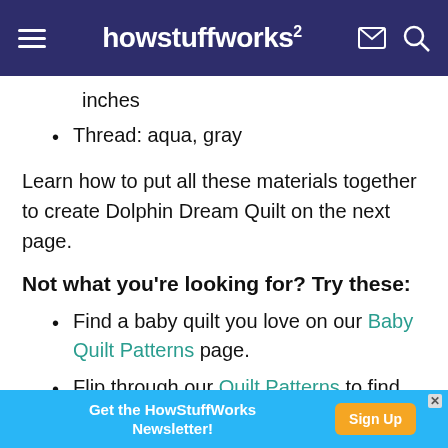howstuffworks
inches
Thread: aqua, gray
Learn how to put all these materials together to create Dolphin Dream Quilt on the next page.
Not what you're looking for? Try these:
Find a baby quilt you love on our Baby Quilt Patterns page.
Flip through our Quilt Patterns to find your next quilting project.
[Figure (screenshot): Advertisement banner: Get the HowStuffWorks Newsletter! with Sign Up button]